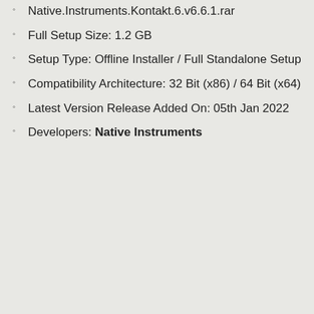Native.Instruments.Kontakt.6.v6.6.1.rar
Full Setup Size: 1.2 GB
Setup Type: Offline Installer / Full Standalone Setup
Compatibility Architecture: 32 Bit (x86) / 64 Bit (x64)
Latest Version Release Added On: 05th Jan 2022
Developers: Native Instruments